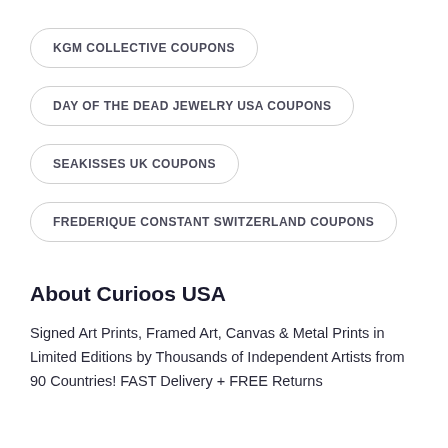KGM COLLECTIVE COUPONS
DAY OF THE DEAD JEWELRY USA COUPONS
SEAKISSES UK COUPONS
FREDERIQUE CONSTANT SWITZERLAND COUPONS
About Curioos USA
Signed Art Prints, Framed Art, Canvas & Metal Prints in Limited Editions by Thousands of Independent Artists from 90 Countries! FAST Delivery + FREE Returns